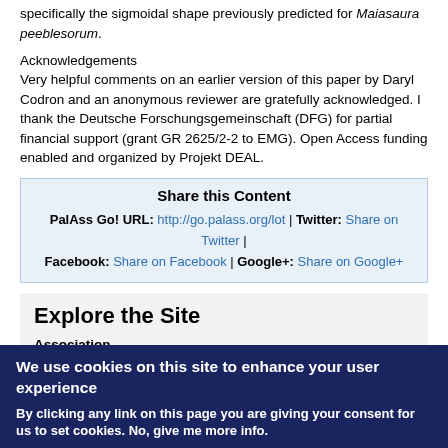specifically the sigmoidal shape previously predicted for Maiasaura peeblesorum.
Acknowledgements
Very helpful comments on an earlier version of this paper by Daryl Codron and an anonymous reviewer are gratefully acknowledged. I thank the Deutsche Forschungsgemeinschaft (DFG) for partial financial support (grant GR 2625/2-2 to EMG). Open Access funding enabled and organized by Projekt DEAL.
Share this Content
PalAss Go! URL: http://go.palass.org/lot | Twitter: Share on Twitter | Facebook: Share on Facebook | Google+: Share on Google+
Explore the Site
Association
Constitution
We use cookies on this site to enhance your user experience
By clicking any link on this page you are giving your consent for us to set cookies. No, give me more info.